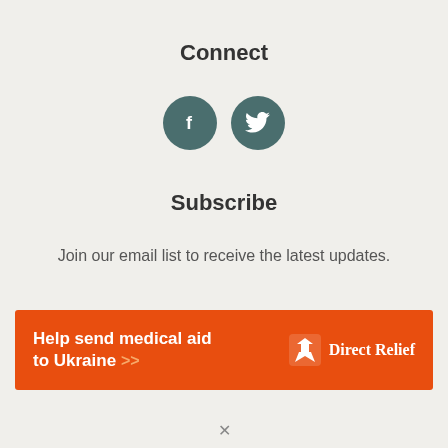Connect
[Figure (illustration): Two circular dark teal social media icons: Facebook (f) and Twitter (bird)]
Subscribe
Join our email list to receive the latest updates.
[Figure (infographic): Orange advertisement banner reading 'Help send medical aid to Ukraine >>' with Direct Relief logo on the right]